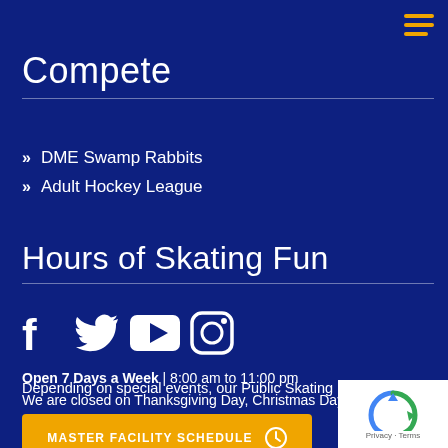Compete
DME Swamp Rabbits
Adult Hockey League
Hours of Skating Fun
[Figure (other): Social media icons: Facebook, Twitter, YouTube, Instagram]
Open 7 Days a Week | 8:00 am to 11:00 pm
We are closed on Thanksgiving Day, Christmas Day & 4th of July.
MASTER FACILITY SCHEDULE
Depending on special events, our Public Skating hours vary
386.256.3962